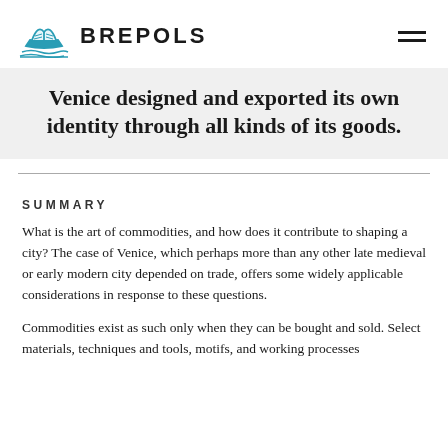BREPOLS
Venice designed and exported its own identity through all kinds of its goods.
SUMMARY
What is the art of commodities, and how does it contribute to shaping a city? The case of Venice, which perhaps more than any other late medieval or early modern city depended on trade, offers some widely applicable considerations in response to these questions.
Commodities exist as such only when they can be bought and sold. Select materials, techniques and tools, motifs, and working processes